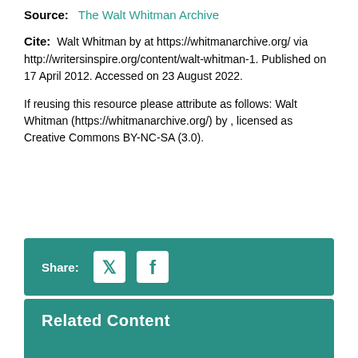Source: The Walt Whitman Archive
Cite: Walt Whitman by at https://whitmanarchive.org/ via http://writersinspire.org/content/walt-whitman-1. Published on 17 April 2012. Accessed on 23 August 2022.
If reusing this resource please attribute as follows: Walt Whitman (https://whitmanarchive.org/) by , licensed as Creative Commons BY-NC-SA (3.0).
Share:
Related Content